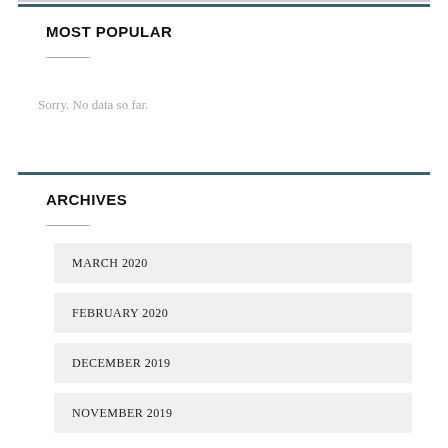MOST POPULAR
Sorry. No data so far.
ARCHIVES
MARCH 2020
FEBRUARY 2020
DECEMBER 2019
NOVEMBER 2019